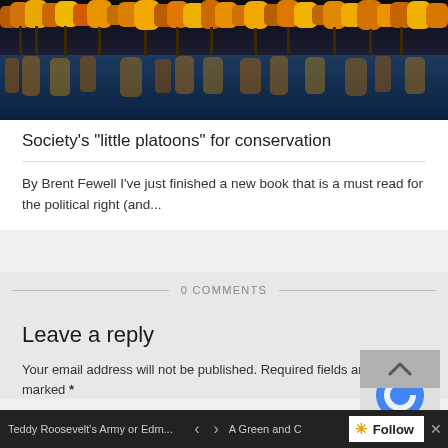[Figure (photo): Landscape photo of autumn trees reflected in a dark blue lake, with yellow and orange foliage mirrored in the water]
Society's "little platoons" for conservation
By Brent Fewell I've just finished a new book that is a must read for the political right (and...
0 COMMENTS
Leave a reply
Your email address will not be published. Required fields are marked *
Teddy Roosevelt's Army or Edm...   <   >   A Green and C  * Follow  X